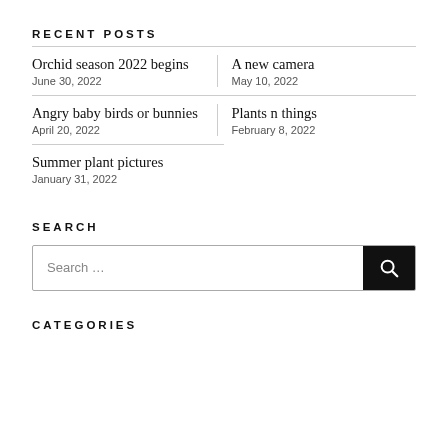RECENT POSTS
Orchid season 2022 begins
June 30, 2022
A new camera
May 10, 2022
Angry baby birds or bunnies
April 20, 2022
Plants n things
February 8, 2022
Summer plant pictures
January 31, 2022
SEARCH
Search …
CATEGORIES